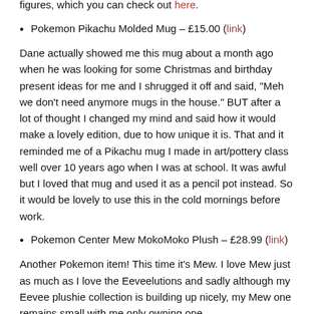Dans have discussed about getting the bundle of these figures, which you can check out here.
Pokemon Pikachu Molded Mug – £15.00 (link)
Dane actually showed me this mug about a month ago when he was looking for some Christmas and birthday present ideas for me and I shrugged it off and said, "Meh we don't need anymore mugs in the house." BUT after a lot of thought I changed my mind and said how it would make a lovely edition, due to how unique it is. That and it reminded me of a Pikachu mug I made in art/pottery class well over 10 years ago when I was at school. It was awful but I loved that mug and used it as a pencil pot instead. So it would be lovely to use this in the cold mornings before work.
Pokemon Center Mew MokoMoko Plush – £28.99 (link)
Another Pokemon item! This time it's Mew. I love Mew just as much as I love the Eeveelutions and sadly although my Eevee plushie collection is building up nicely, my Mew one remains small with me only owning one